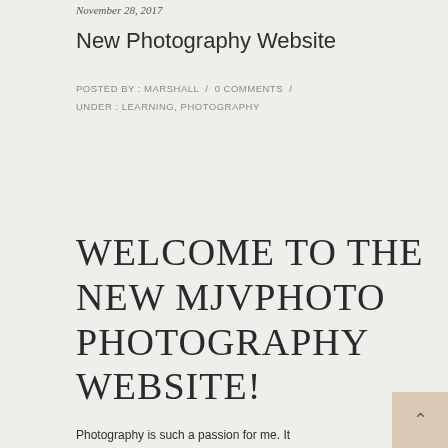November 28, 2017
New Photography Website
POSTED BY : MARSHALL / 0 COMMENTS / UNDER : LEARNING, PHOTOGRAPHY
Welcome to the new MJVPhoto Photography Website!
Photography is such a passion for me. It